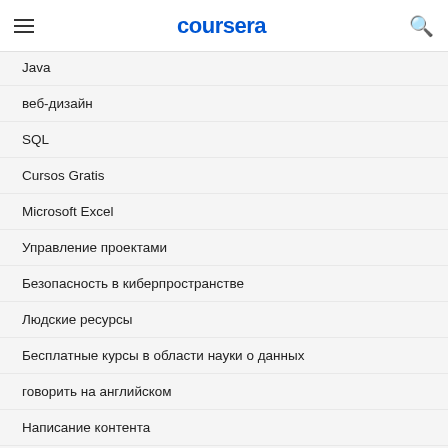coursera
Java
веб-дизайн
SQL
Cursos Gratis
Microsoft Excel
Управление проектами
Безопасность в киберпространстве
Людские ресурсы
Бесплатные курсы в области науки о данных
говорить на английском
Написание контента
Веб-разработка: полный спектр технологий
Искусственный интеллект
Программирование на языке С
Навыки общения